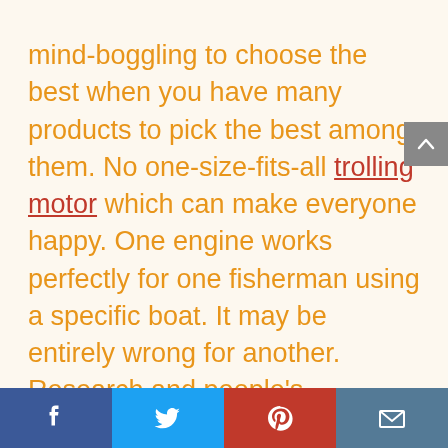mind-boggling to choose the best when you have many products to pick the best among them. No one-size-fits-all trolling motor which can make everyone happy. One engine works perfectly for one fisherman using a specific boat. It may be entirely wrong for another. Research and people's experiences, and our guide will help you in deciding one specific motor.
Social share buttons: Facebook, Twitter, Pinterest, Email